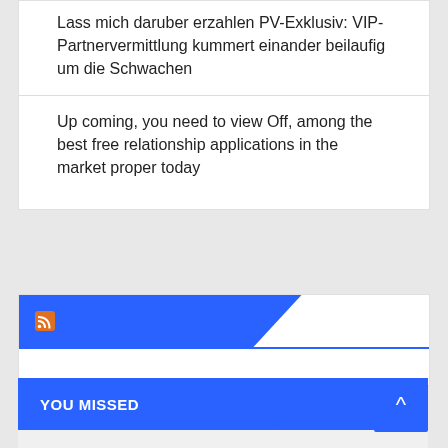Lass mich daruber erzahlen PV-Exklusiv: VIP-Partnervermittlung kummert einander beilaufig um die Schwachen
Up coming, you need to view Off, among the best free relationship applications in the market proper today
[Figure (other): RSS feed widget with blue angled header bar containing RSS icon]
YOU MISSED